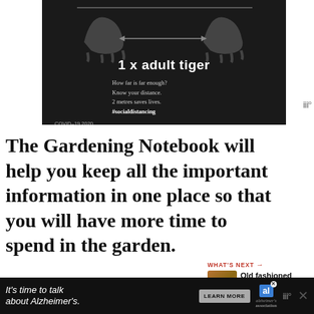[Figure (infographic): COVID-19 social distancing infographic on black background showing tiger silhouette with text '1 x adult tiger', 'How far is far enough? Know your distance. 2 metres saves lives. #socialdistancing', 'COVID-19 2020']
The Gardening Notebook will help you keep all the important information in one place so that you will have more time to spend in the garden.
[Figure (infographic): WHAT'S NEXT arrow panel showing thumbnail image of food and text 'Old fashioned bread and...']
[Figure (photo): Photo of tomatoes and vegetables in a garden basket]
[Figure (infographic): Bottom advertisement: It's time to talk about Alzheimer's. LEARN MORE button with Alzheimer's association logo]